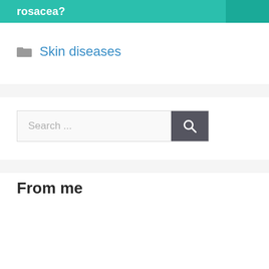rosacea?
Skin diseases
[Figure (other): Search bar with text 'Search ...' and a dark search button with magnifying glass icon]
From me